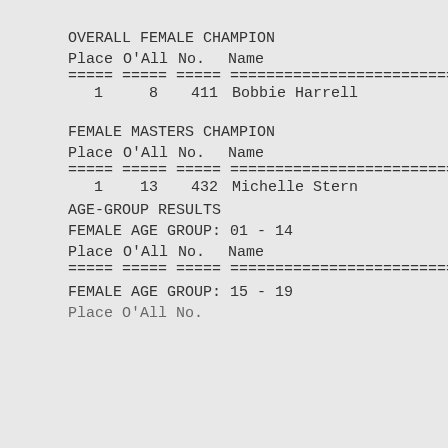OVERALL FEMALE CHAMPION
| Place | O'All | No. | Name | Ag |
| --- | --- | --- | --- | --- |
| 1 | 8 | 411 | Bobbie Harrell | 5 |
FEMALE MASTERS CHAMPION
| Place | O'All | No. | Name | Ag |
| --- | --- | --- | --- | --- |
| 1 | 13 | 432 | Michelle Stern | 4 |
AGE-GROUP RESULTS
FEMALE AGE GROUP:  01 - 14
| Place | O'All | No. | Name | Ag |
| --- | --- | --- | --- | --- |
FEMALE AGE GROUP:  15 - 19